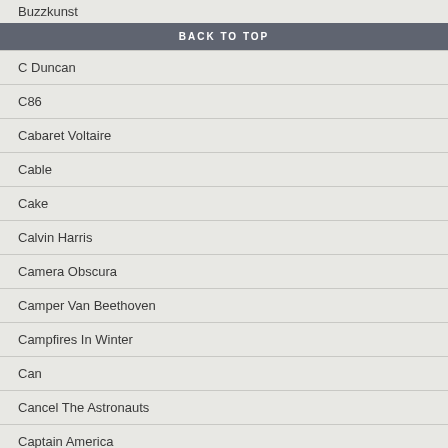Buzzkunst
BACK TO TOP
C Duncan
C86
Cabaret Voltaire
Cable
Cake
Calvin Harris
Camera Obscura
Camper Van Beethoven
Campfires In Winter
Can
Cancel The Astronauts
Captain America